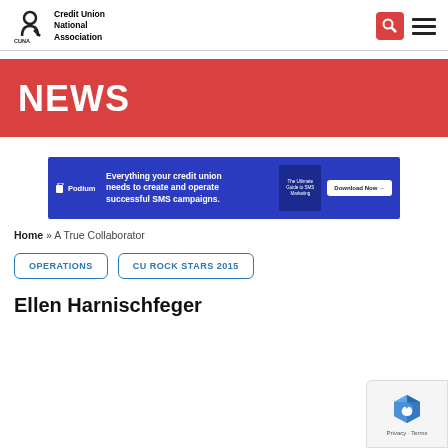Credit Union National Association (CUNA) - Header with logo, search button, and navigation menu
[Figure (infographic): NEWS banner with red background and white bold text]
[Figure (infographic): Podium advertisement banner: 'Everything your credit union needs to create and operate successful SMS campaigns.' with Download Now button]
Home » A True Collaborator
OPERATIONS   CU ROCK STARS 2015
Ellen Harnischfeger